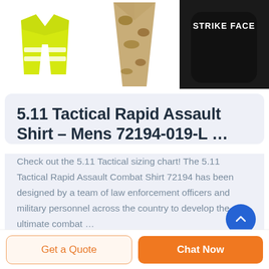[Figure (photo): Top row of three product images: yellow hi-vis safety vest, desert camouflage neck tie/collar, and black armor plate labeled STRIKE FACE]
5.11 Tactical Rapid Assault Shirt – Mens 72194-019-L …
Check out the 5.11 Tactical sizing chart! The 5.11 Tactical Rapid Assault Combat Shirt 72194 has been designed by a team of law enforcement officers and military personnel across the country to develop the ultimate combat …
Get a Quote
Chat Now